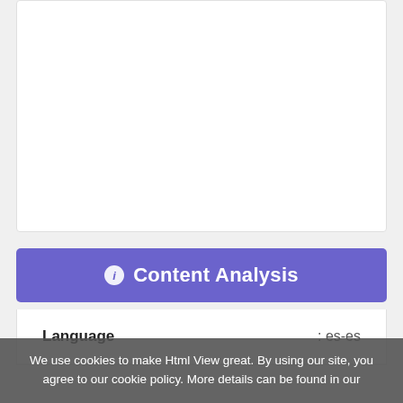[Figure (other): White card/panel area at top of page, mostly empty]
ℹ Content Analysis
| Language | : es-es |
| --- | --- |
We use cookies to make Html View great. By using our site, you agree to our cookie policy. More details can be found in our